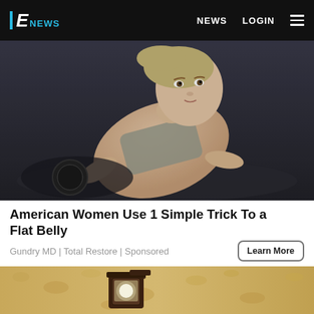E! NEWS | NEWS | LOGIN
[Figure (photo): Woman in sports bra working out, leaning forward in gym setting]
American Women Use 1 Simple Trick To a Flat Belly
Gundry MD | Total Restore | Sponsored
Learn More
[Figure (photo): Outdoor rustic wall-mounted lantern light fixture on textured stucco wall]